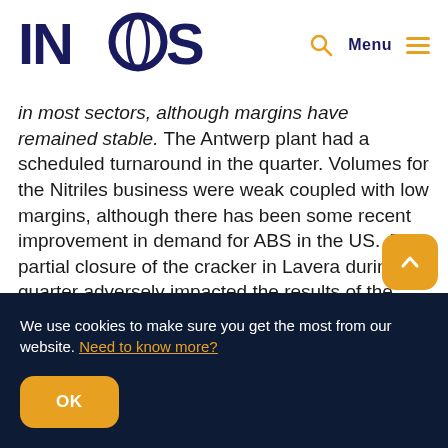INEOS | Menu
in most sectors, although margins have remained stable. The Antwerp plant had a scheduled turnaround in the quarter. Volumes for the Nitriles business were weak coupled with low margins, although there has been some recent improvement in demand for ABS in the US. The partial closure of the cracker in Lavera during the quarter adversely impacted the results of the Oxide and Oligomers businesses by €7 million.

O&P Europe reported EBITDA of €40 million compa...
We use cookies to make sure you get the most from our website. Need to know more?
OK